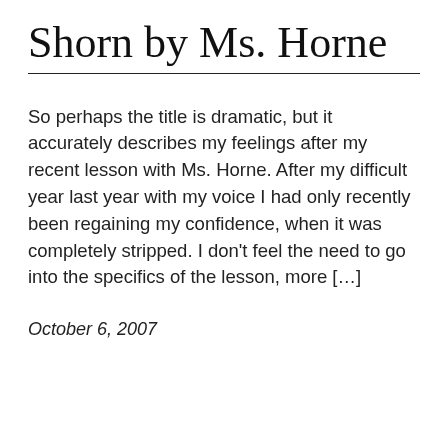Shorn by Ms. Horne
So perhaps the title is dramatic, but it accurately describes my feelings after my recent lesson with Ms. Horne. After my difficult year last year with my voice I had only recently been regaining my confidence, when it was completely stripped. I don't feel the need to go into the specifics of the lesson, more […]
October 6, 2007